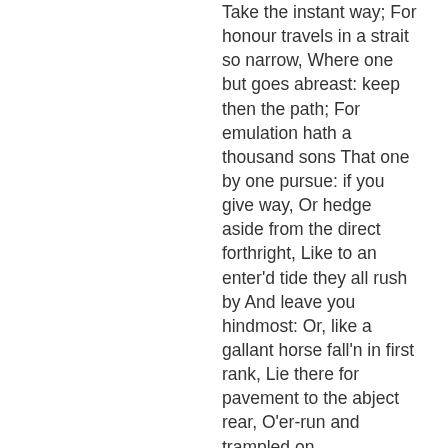Take the instant way; For honour travels in a strait so narrow, Where one but goes abreast: keep then the path; For emulation hath a thousand sons That one by one pursue: if you give way, Or hedge aside from the direct forthright, Like to an enter'd tide they all rush by And leave you hindmost: Or, like a gallant horse fall'n in first rank, Lie there for pavement to the abject rear, O'er-run and trampled on...
Apareix a 333 llibres de 1803-2008
Pàgina 494 - And, sure, he is an honourable man. I speak not to